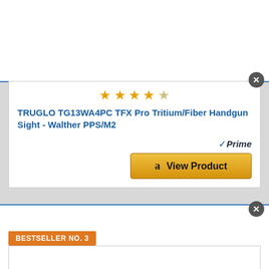[Figure (other): Star rating row with 4 filled gold stars and 1 half star]
TRUGLO TG13WA4PC TFX Pro Tritium/Fiber Handgun Sight - Walther PPS/M2
[Figure (logo): Amazon Prime badge with checkmark and italic Prime text]
[Figure (other): Amazon View Product button with Amazon logo]
BESTSELLER NO. 3